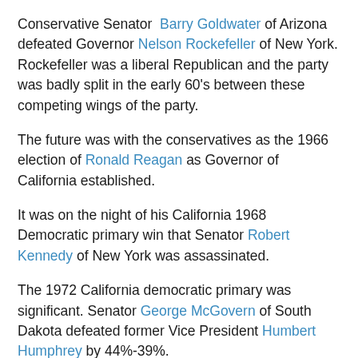Conservative Senator Barry Goldwater of Arizona defeated Governor Nelson Rockefeller of New York. Rockefeller was a liberal Republican and the party was badly split in the early 60's between these competing wings of the party.
The future was with the conservatives as the 1966 election of Ronald Reagan as Governor of California established.
It was on the night of his California 1968 Democratic primary win that Senator Robert Kennedy of New York was assassinated.
The 1972 California democratic primary was significant. Senator George McGovern of South Dakota defeated former Vice President Humbert Humphrey by 44%-39%.